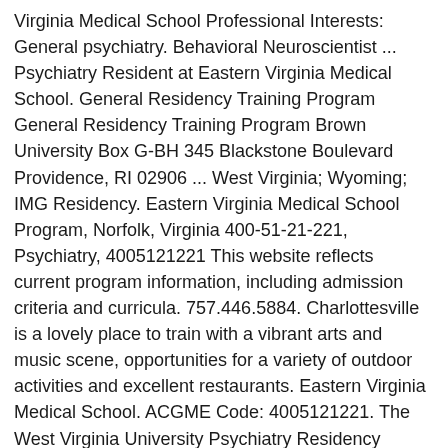Virginia Medical School Professional Interests: General psychiatry. Behavioral Neuroscientist ... Psychiatry Resident at Eastern Virginia Medical School. General Residency Training Program General Residency Training Program Brown University Box G-BH 345 Blackstone Boulevard Providence, RI 02906 ... West Virginia; Wyoming; IMG Residency. Eastern Virginia Medical School Program, Norfolk, Virginia 400-51-21-221, Psychiatry, 4005121221 This website reflects current program information, including admission criteria and curricula. 757.446.5884. Charlottesville is a lovely place to train with a vibrant arts and music scene, opportunities for a variety of outdoor activities and excellent restaurants. Eastern Virginia Medical School. ACGME Code: 4005121221. The West Virginia University Psychiatry Residency Training Program seeks to cultivate future leaders in healthcare. Brittany Campbell. Browse other states or other specialties. Email: scottkf@evms.edu. Psychiatry Residency. Virginia Commonwealth Univ. Box 1980 Karen Scott, Residency Program Specialist. Undergraduate: Old Dominion University